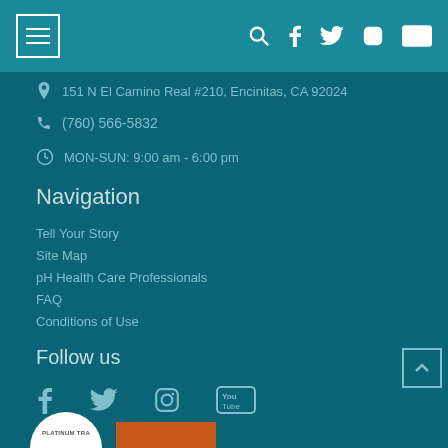Navigation menu and social icons header bar
151 N El Camino Real #210, Encinitas, CA 92024
(760) 566-5832
MON-SUN: 9:00 am - 6:00 pm
Navigation
Tell Your Story
Site Map
pH Health Care Professionals
FAQ
Conditions of Use
Follow us
[Figure (other): Social media icons: Facebook, Twitter, Instagram, YouTube]
[Figure (other): Platinum transparency badge and another badge at bottom]